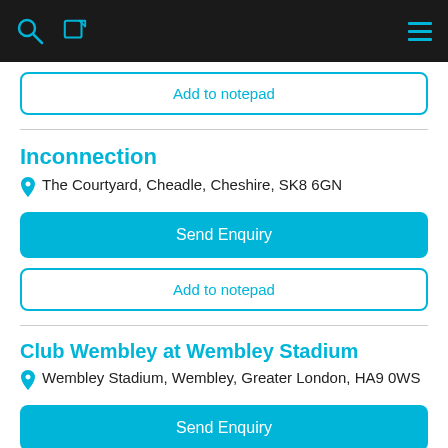Search / Edit / Menu (navigation bar)
Add to notepad
Inconnection
The Courtyard, Cheadle, Cheshire, SK8 6GN
Send Enquiry
Add to notepad
Club Wembley at Wembley Stadium
Wembley Stadium, Wembley, Greater London, HA9 0WS
Send Enquiry
Add to notepad